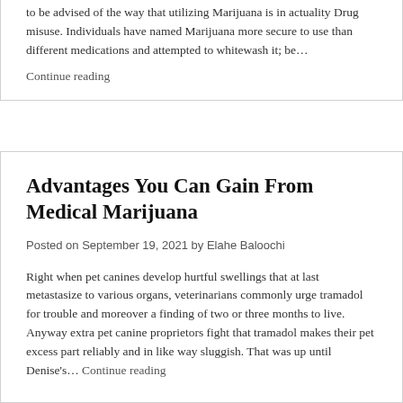to be advised of the way that utilizing Marijuana is in actuality Drug misuse. Individuals have named Marijuana more secure to use than different medications and attempted to whitewash it; be… Continue reading
Advantages You Can Gain From Medical Marijuana
Posted on September 19, 2021 by Elahe Baloochi
Right when pet canines develop hurtful swellings that at last metastasize to various organs, veterinarians commonly urge tramadol for trouble and moreover a finding of two or three months to live. Anyway extra pet canine proprietors fight that tramadol makes their pet excess part reliably and in like way sluggish. That was up until Denise's… Continue reading